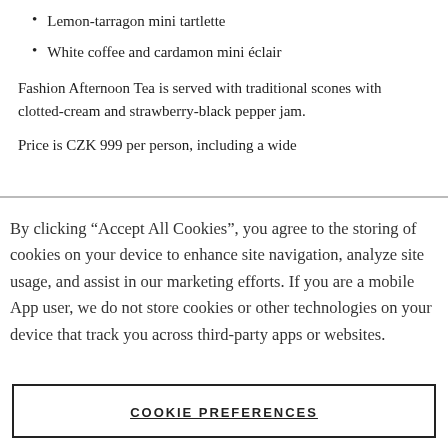Lemon-tarragon mini tartlette
White coffee and cardamon mini éclair
Fashion Afternoon Tea is served with traditional scones with clotted-cream and strawberry-black pepper jam.
Price is CZK 999 per person, including a wide
By clicking “Accept All Cookies”, you agree to the storing of cookies on your device to enhance site navigation, analyze site usage, and assist in our marketing efforts. If you are a mobile App user, we do not store cookies or other technologies on your device that track you across third-party apps or websites.
COOKIE PREFERENCES